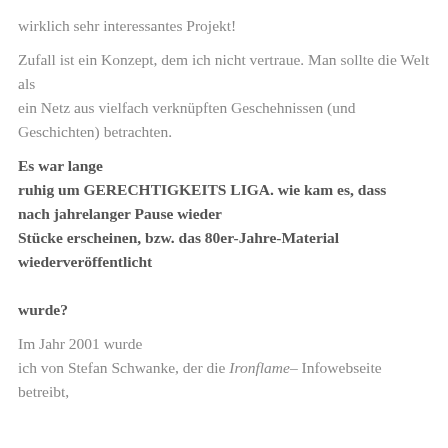wirklich sehr interessantes Projekt!
Zufall ist ein Konzept, dem ich nicht vertraue. Man sollte die Welt als ein Netz aus vielfach verknüpften Geschehnissen (und Geschichten) betrachten.
Es war lange ruhig um GERECHTIGKEITS LIGA. wie kam es, dass nach jahrelanger Pause wieder Stücke erscheinen, bzw. das 80er-Jahre-Material wiederveröffentlicht wurde?
Im Jahr 2001 wurde ich von Stefan Schwanke, der die Ironflame– Infowebseite betreibt,